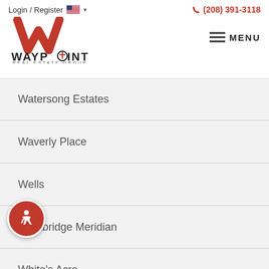Login / Register  (208) 391-3118  MENU  Waypoint Real Estate Group
Watersong Estates
Waverly Place
Wells
Westbridge Meridian
White's Acre
Whitebark
Wilkins Ranch
Woodsong
Woodbridge